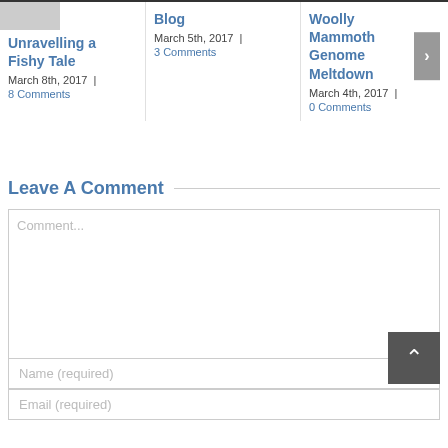Unravelling a Fishy Tale
March 8th, 2017  |
8 Comments
Blog
March 5th, 2017  |
3 Comments
Woolly Mammoth Genome Meltdown
March 4th, 2017  |
0 Comments
Leave A Comment
Comment...
Name (required)
Email (required)